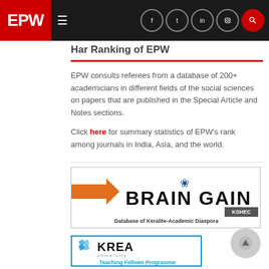EPW
Har Ranking of EPW
EPW consults referees from a database of 200+ academicians in different fields of the social sciences on papers that are published in the Special Article and Notes sections.
Click here for summary statistics of EPW's rank among journals in India, Asia, and the world.
[Figure (illustration): Brain Gain advertisement banner - Database of Keralite-Academic Diaspora with KSHEC badge and orange arrow graphic]
[Figure (illustration): KREA University Teaching Fellows Programme advertisement with teal/blue logo and border]